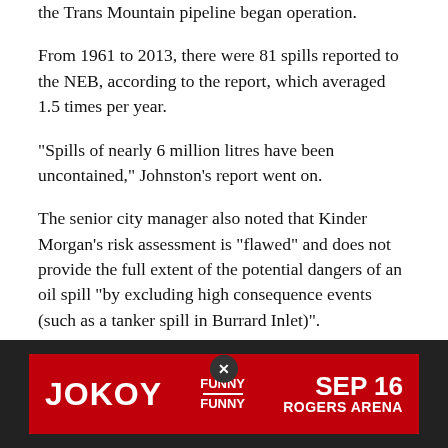the Trans Mountain pipeline began operation.
From 1961 to 2013, there were 81 spills reported to the NEB, according to the report, which averaged 1.5 times per year.
"Spills of nearly 6 million litres have been uncontained," Johnston's report went on.
The senior city manager also noted that Kinder Morgan's risk assessment is "flawed" and does not provide the full extent of the potential dangers of an oil spill "by excluding high consequence events (such as a tanker spill in Burrard Inlet)".
"A spill at the terminal or in the Inlet over any 50-year period has a 79 to 87 per cent likelihood," the report stated.
The report noted that based on computer simulations for four locations in Burrard Inlet made by experts contracted by the
[Figure (other): Advertisement banner for Jo Koy Funny is Funny Sep 16 Rogers Arena with a close button overlay]